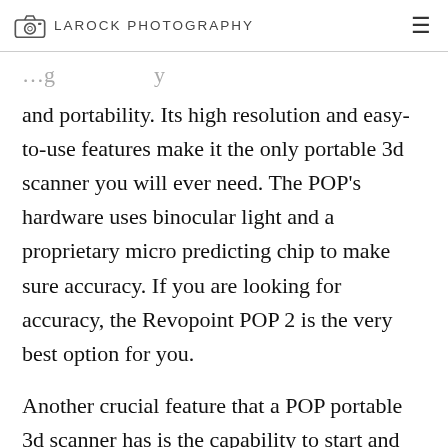LAROCK PHOTOGRAPHY
and portability. Its high resolution and easy-to-use features make it the only portable 3d scanner you will ever need. The POP’s hardware uses binocular light and a proprietary micro predicting chip to make sure accuracy. If you are looking for accuracy, the Revopoint POP 2 is the very best option for you.
Another crucial feature that a POP portable 3d scanner has is the capability to start and stop briefly scanning. You can pause